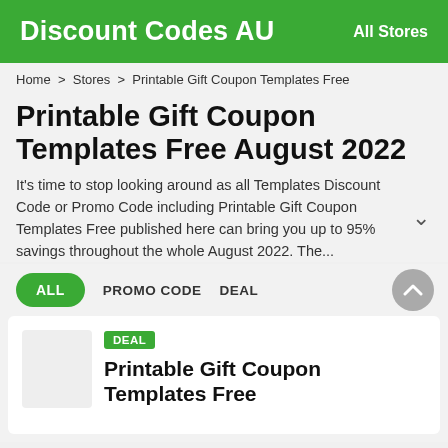Discount Codes AU   All Stores
Home > Stores > Printable Gift Coupon Templates Free
Printable Gift Coupon Templates Free August 2022
It's time to stop looking around as all Templates Discount Code or Promo Code including Printable Gift Coupon Templates Free published here can bring you up to 95% savings throughout the whole August 2022. The...
ALL   PROMO CODE   DEAL
DEAL
Printable Gift Coupon Templates Free